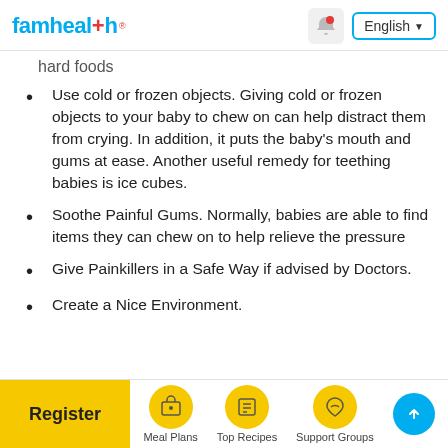famhealth | English
hard foods
Use cold or frozen objects. Giving cold or frozen objects to your baby to chew on can help distract them from crying. In addition, it puts the baby's mouth and gums at ease. Another useful remedy for teething babies is ice cubes.
Soothe Painful Gums. Normally, babies are able to find items they can chew on to help relieve the pressure
Give Painkillers in a Safe Way if advised by Doctors.
Create a Nice Environment.
Register | Meal Plans | Top Recipes | Support Groups